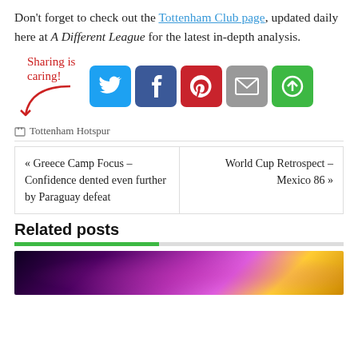Don't forget to check out the Tottenham Club page, updated daily here at A Different League for the latest in-depth analysis.
[Figure (infographic): Sharing is caring! graphic with arrow and social media buttons: Twitter, Facebook, Pinterest, Email, ShareThis]
Tottenham Hotspur
« Greece Camp Focus – Confidence dented even further by Paraguay defeat
World Cup Retrospect – Mexico 86 »
Related posts
[Figure (photo): Partial photo showing a person under colorful stage lights in purple/pink/yellow tones]